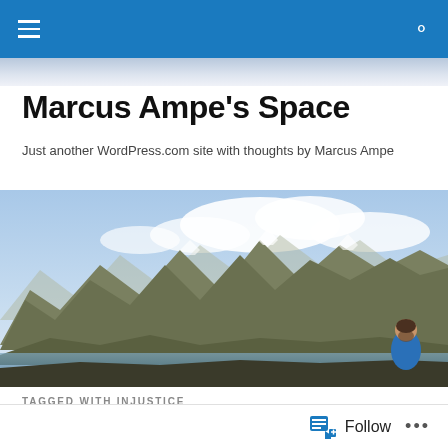Marcus Ampe's Space – navigation bar with menu and search icons
Marcus Ampe's Space
Just another WordPress.com site with thoughts by Marcus Ampe
[Figure (photo): Mountain landscape panorama with rocky peaks, blue sky with clouds, a lake at the base, and a man with a beard wearing a blue jacket visible at the right edge]
TAGGED WITH INJUSTICE
[Figure (photo): Close-up of a ruler/measuring tape showing markings at 40, 50, 60, and 70]
Follow  ...